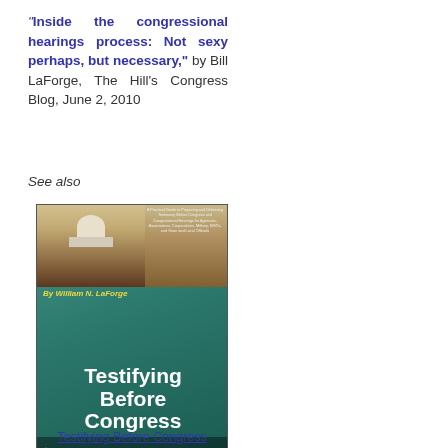“Inside the congressional hearings process: Not sexy perhaps, but necessary,” by Bill LaForge, The Hill’s Congress Blog, June 2, 2010
See also
[Figure (photo): Book cover of 'Testifying Before Congress' by William N. LaForge, published by TheCapitolNet. The cover shows an image of the U.S. Capitol steps at the top and large white text on a teal/green background.]
Testifying Before Congress